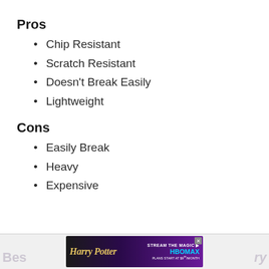Pros
Chip Resistant
Scratch Resistant
Doesn't Break Easily
Lightweight
Cons
Easily Break
Heavy
Expensive
[Figure (other): Harry Potter HBO Max advertisement banner with logo and 'Stream the Magic' text. Sign up now at $9.99/month.]